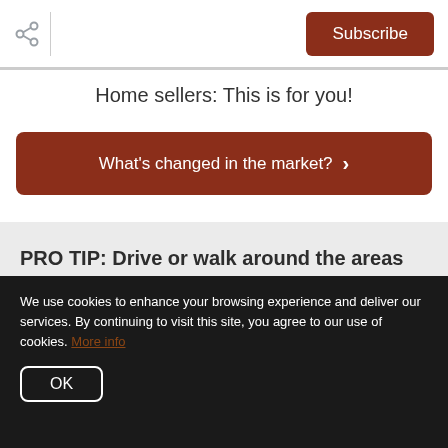Subscribe
Home sellers: This is for you!
What's changed in the market? ›
PRO TIP: Drive or walk around the areas you are researching.  Make sure to take note of distances and time that it takes to get to some of the places
We use cookies to enhance your browsing experience and deliver our services. By continuing to visit this site, you agree to our use of cookies. More info
OK